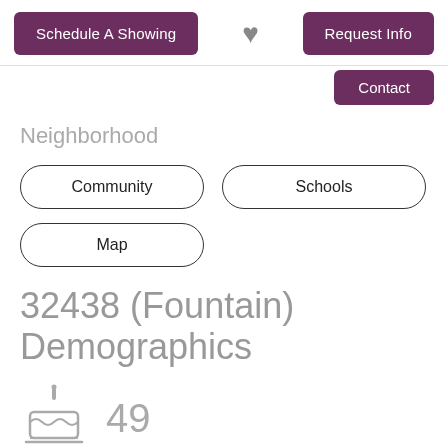Schedule A Showing | ♥ | Request Info
Contact
Neighborhood
Community
Schools
Map
32438 (Fountain) Demographics
49